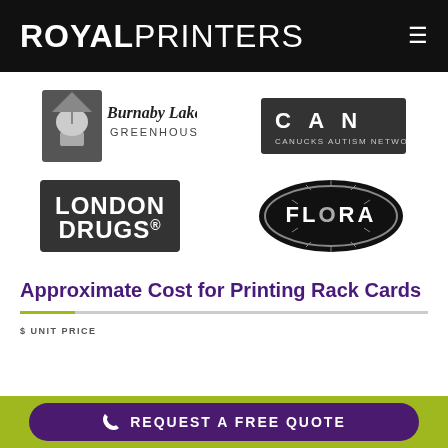ROYAL PRINTERS
[Figure (logo): Burnaby Lake Greenhouses logo - grayscale with plant pot icon and script text]
[Figure (logo): CAN - Canucks Autism Network logo in dark box]
[Figure (logo): London Drugs logo in dark rectangle]
[Figure (logo): Flora logo in dark oval with starburst]
Approximate Cost for Printing Rack Cards
$ UNIT PRICE
REQUEST A FREE QUOTE